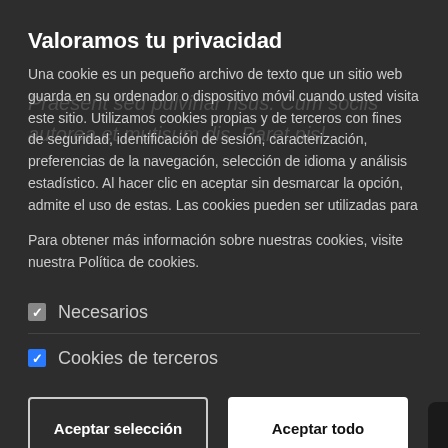Valoramos tu privacidad
Una cookie es un pequeño archivo de texto que un sitio web guarda en su ordenador o dispositivo móvil cuando usted visita este sitio. Utilizamos cookies propias y de terceros con fines de seguridad, identificación de sesión, caracterización, preferencias de la navegación, selección de idioma y análisis estadístico. Al hacer clic en aceptar sin desmarcar la opción, admite el uso de estas. Las cookies pueden ser utilizadas para
Para obtener más información sobre nuestras cookies, visite nuestra Política de cookies.
Necesarios
Cookies de terceros
Aceptar selección
Aceptar todo